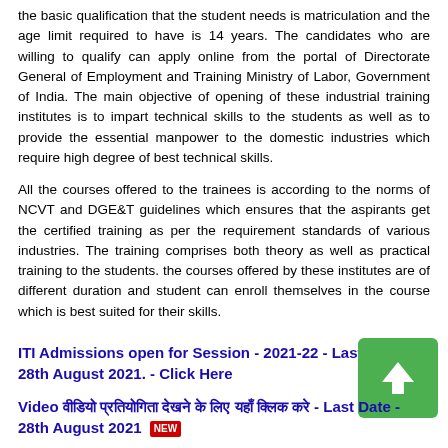the basic qualification that the student needs is matriculation and the age limit required to have is 14 years. The candidates who are willing to qualify can apply online from the portal of Directorate General of Employment and Training Ministry of Labor, Government of India. The main objective of opening of these industrial training institutes is to impart technical skills to the students as well as to provide the essential manpower to the domestic industries which require high degree of best technical skills.
All the courses offered to the trainees is according to the norms of NCVT and DGE&T guidelines which ensures that the aspirants get the certified training as per the requirement standards of various industries. The training comprises both theory as well as practical training to the students. the courses offered by these institutes are of different duration and student can enroll themselves in the course which is best suited for their skills.
ITI Admissions open for Session - 2021-22 - Last Date-28th August 2021. - Click Here
Video वीडियो प्रतियोगिता देखने के लिए यहाँ क्लिक करे - Last Date - 28th August 2021 NEW
UP ITI Admissions 2020 - Official Website Click Here